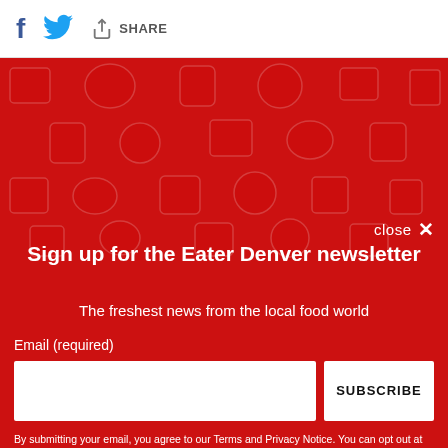f [Twitter bird] SHARE
[Figure (screenshot): Red background with food icon pattern overlay (pizza slices, cups, burgers, etc.) in darker red]
close ✕
Sign up for the Eater Denver newsletter
The freshest news from the local food world
Email (required)
SUBSCRIBE
By submitting your email, you agree to our Terms and Privacy Notice. You can opt out at any time. This site is protected by reCAPTCHA and the Google Privacy Policy and Terms of Service apply.